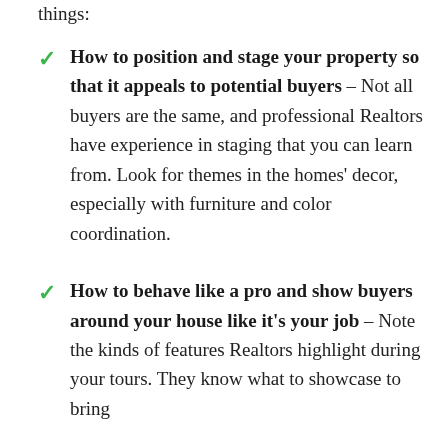things:
How to position and stage your property so that it appeals to potential buyers – Not all buyers are the same, and professional Realtors have experience in staging that you can learn from. Look for themes in the homes' decor, especially with furniture and color coordination.
How to behave like a pro and show buyers around your house like it's your job – Note the kinds of features Realtors highlight during your tours. They know what to showcase to bring